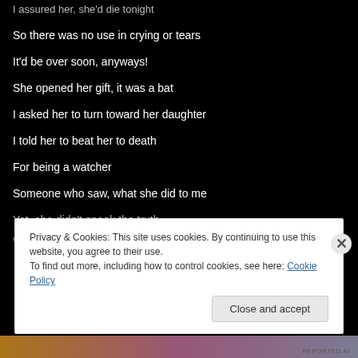I assured her, she'd die tonight
So there was no use in crying or tears
It'd be over soon, anyways!
She opened her gift, it was a bat
I asked her to turn toward her daughter
I told her to beat her to death
For being a watcher
Someone who saw, what she did to me
Yet, she didn't speak the truth
W...
Privacy & Cookies: This site uses cookies. By continuing to use this website, you agree to their use.
To find out more, including how to control cookies, see here: Cookie Policy
Close and accept